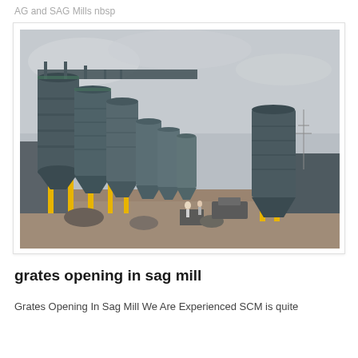AG and SAG Mills nbsp
[Figure (photo): Industrial facility with multiple large cylindrical steel silos/tanks arranged in a row, supported by yellow structural columns. The silos are dark grey/green colored with interconnecting pipes and walkways at the top. A construction site with dirt ground, vehicles, and equipment visible in the foreground. Overcast sky in the background.]
grates opening in sag mill
Grates Opening In Sag Mill We Are Experienced SCM is quite